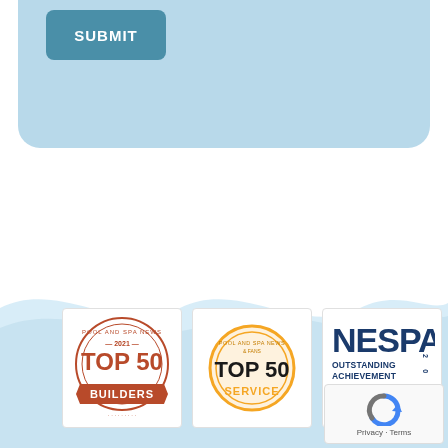[Figure (screenshot): Submit button on a light blue rounded card/form area at the top of the page]
[Figure (illustration): Light blue wavy background decorating the lower portion of the page]
[Figure (logo): Pool and Spa News 2021 Top 50 Builders badge — circular badge with red/brown ribbon banner, text: POOL AND SPA NEWS, 2021, TOP 50, BUILDERS]
[Figure (logo): Pool and Spa News Top 50 Service badge — circular gold/orange badge, text: TOP 50, SERVICE]
[Figure (logo): NESPA Outstanding Achievement Awards 2020 Service badge — blue and gold logo with NESPA letters and text: OUTSTANDING ACHIEVEMENT, AWARDS, SERVICE, 2020]
[Figure (logo): Google reCAPTCHA badge in bottom right corner with blue/grey circular arrow icon and Privacy · Terms text]